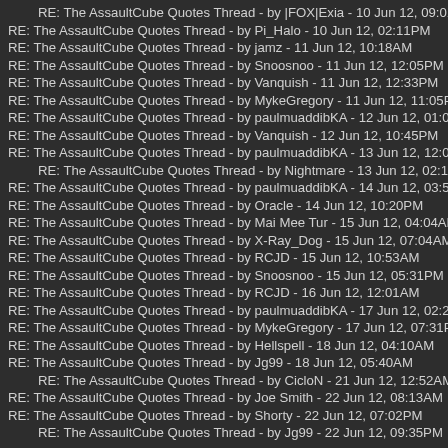RE: The AssaultCube Quotes Thread - by |FOX|Exia - 10 Jun 12, 09:01PM
RE: The AssaultCube Quotes Thread - by Pi_Halo - 10 Jun 12, 02:11PM
RE: The AssaultCube Quotes Thread - by jamz - 11 Jun 12, 10:18AM
RE: The AssaultCube Quotes Thread - by Snoosnoo - 11 Jun 12, 12:05PM
RE: The AssaultCube Quotes Thread - by Vanquish - 11 Jun 12, 12:33PM
RE: The AssaultCube Quotes Thread - by MykeGregory - 11 Jun 12, 11:05PM
RE: The AssaultCube Quotes Thread - by paulmuaddibKA - 12 Jun 12, 01:07AM
RE: The AssaultCube Quotes Thread - by Vanquish - 12 Jun 12, 10:45PM
RE: The AssaultCube Quotes Thread - by paulmuaddibKA - 13 Jun 12, 12:01AM
RE: The AssaultCube Quotes Thread - by Nightmare - 13 Jun 12, 02:11AM
RE: The AssaultCube Quotes Thread - by paulmuaddibKA - 14 Jun 12, 03:52AM
RE: The AssaultCube Quotes Thread - by Oracle - 14 Jun 12, 10:20PM
RE: The AssaultCube Quotes Thread - by Mai Mee Tur - 15 Jun 12, 04:04AM
RE: The AssaultCube Quotes Thread - by X-Ray_Dog - 15 Jun 12, 07:04AM
RE: The AssaultCube Quotes Thread - by RCJD - 15 Jun 12, 10:53AM
RE: The AssaultCube Quotes Thread - by Snoosnoo - 15 Jun 12, 05:31PM
RE: The AssaultCube Quotes Thread - by RCJD - 16 Jun 12, 12:01AM
RE: The AssaultCube Quotes Thread - by paulmuaddibKA - 17 Jun 12, 02:27AM
RE: The AssaultCube Quotes Thread - by MykeGregory - 17 Jun 12, 07:31PM
RE: The AssaultCube Quotes Thread - by Hellspell - 18 Jun 12, 04:10AM
RE: The AssaultCube Quotes Thread - by Jg99 - 18 Jun 12, 05:40AM
RE: The AssaultCube Quotes Thread - by CicloN - 21 Jun 12, 12:52AM
RE: The AssaultCube Quotes Thread - by Joe Smith - 22 Jun 12, 08:13AM
RE: The AssaultCube Quotes Thread - by Shorty - 22 Jun 12, 07:02PM
RE: The AssaultCube Quotes Thread - by Jg99 - 22 Jun 12, 09:35PM